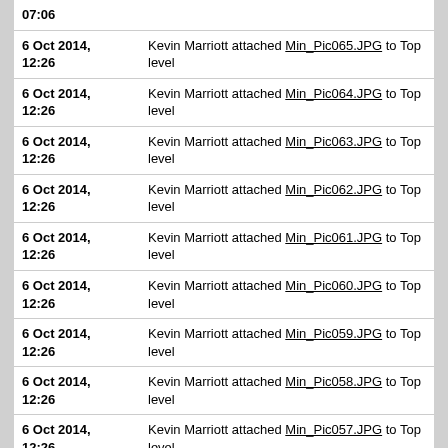| Date | Activity |
| --- | --- |
| 07:06 |  |
| 6 Oct 2014, 12:26 | Kevin Marriott attached Min_Pic065.JPG to Top level |
| 6 Oct 2014, 12:26 | Kevin Marriott attached Min_Pic064.JPG to Top level |
| 6 Oct 2014, 12:26 | Kevin Marriott attached Min_Pic063.JPG to Top level |
| 6 Oct 2014, 12:26 | Kevin Marriott attached Min_Pic062.JPG to Top level |
| 6 Oct 2014, 12:26 | Kevin Marriott attached Min_Pic061.JPG to Top level |
| 6 Oct 2014, 12:26 | Kevin Marriott attached Min_Pic060.JPG to Top level |
| 6 Oct 2014, 12:26 | Kevin Marriott attached Min_Pic059.JPG to Top level |
| 6 Oct 2014, 12:26 | Kevin Marriott attached Min_Pic058.JPG to Top level |
| 6 Oct 2014, 12:26 | Kevin Marriott attached Min_Pic057.JPG to Top level |
| 6 Oct 2014, 12:26 | Kevin Marriott attached Min_Pic056.JPG to Top level |
| 6 Oct 2014, | Kevin Marriott attached Min_Pic055.JPG to Top |